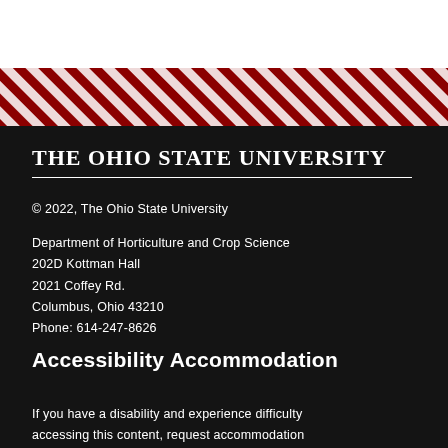[Figure (other): Diagonal red and white striped decorative band across the page]
The Ohio State University
© 2022, The Ohio State University
Department of Horticulture and Crop Science
202D Kottman Hall
2021 Coffey Rd.
Columbus, Ohio 43210
Phone: 614-247-8626
Accessibility Accommodation
If you have a disability and experience difficulty accessing this content, request accommodation